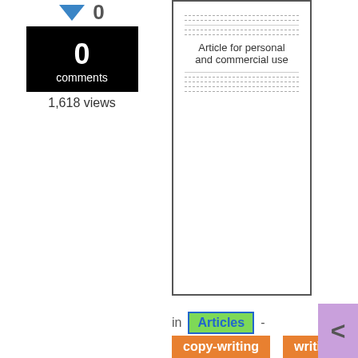[Figure (screenshot): Article thumbnail showing 'Article for personal and commercial use' with dashed lines representing text content]
0 comments
1,618 views
in Articles - copy-writing writing
The most sacred secrets of copywriting services
[Figure (screenshot): Second article thumbnail showing 'Article for personal and commercial use' with dashed lines]
0 comments
1,623 views